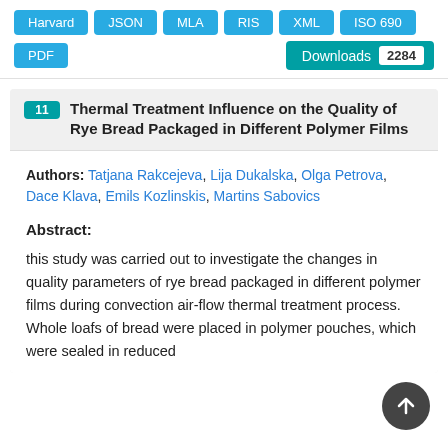Harvard | JSON | MLA | RIS | XML | ISO 690 | PDF | Downloads 2284
11 Thermal Treatment Influence on the Quality of Rye Bread Packaged in Different Polymer Films
Authors: Tatjana Rakcejeva, Lija Dukalska, Olga Petrova, Dace Klava, Emils Kozlinskis, Martins Sabovics
Abstract:
this study was carried out to investigate the changes in quality parameters of rye bread packaged in different polymer films during convection air-flow thermal treatment process. Whole loafs of bread were placed in polymer pouches, which were sealed in reduced